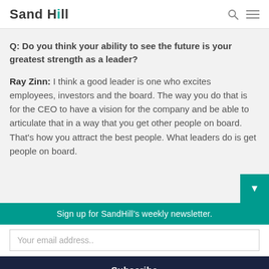Sand Hill
Q: Do you think your ability to see the future is your greatest strength as a leader?
Ray Zinn: I think a good leader is one who excites employees, investors and the board. The way you do that is for the CEO to have a vision for the company and be able to articulate that in a way that you get other people on board. That's how you attract the best people. What leaders do is get people on board.
Sign up for SandHill's weekly newsletter.
Your email address..
Subscribe